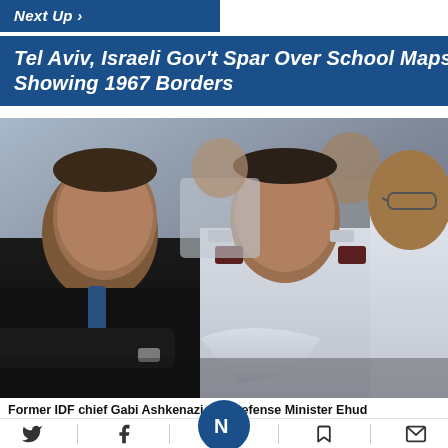Next Up ›
Tel Aviv, Israeli Gov't Spar Over School Maps Showing 1967 Borders
[Figure (photo): Former IDF chief Gabi Ashkenazi and Defense Minister Ehud, seated in military uniforms with arms crossed]
Former IDF chief Gabi Ashkenazi and Defense Minister Ehud
Social share icons: Twitter, Facebook, Logo, Bookmark, Email